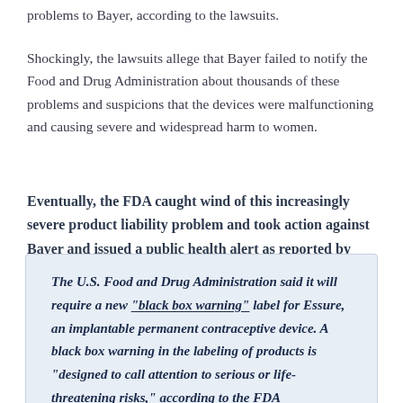problems to Bayer, according to the lawsuits.
Shockingly, the lawsuits allege that Bayer failed to notify the Food and Drug Administration about thousands of these problems and suspicions that the devices were malfunctioning and causing severe and widespread harm to women.
Eventually, the FDA caught wind of this increasingly severe product liability problem and took action against Bayer and issued a public health alert as reported by CNN in 2016:
The U.S. Food and Drug Administration said it will require a new "black box warning" label for Essure, an implantable permanent contraceptive device. A black box warning in the labeling of products is "designed to call attention to serious or life-threatening risks," according to the FDA